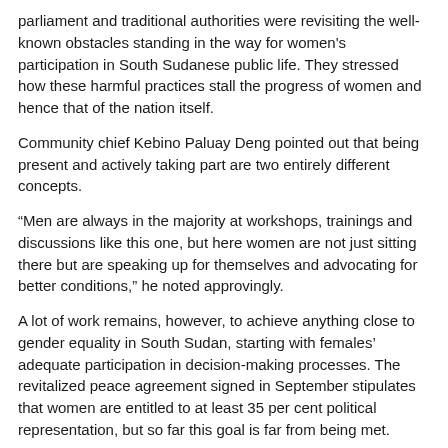parliament and traditional authorities were revisiting the well-known obstacles standing in the way for women's participation in South Sudanese public life. They stressed how these harmful practices stall the progress of women and hence that of the nation itself.
Community chief Kebino Paluay Deng pointed out that being present and actively taking part are two entirely different concepts.
“Men are always in the majority at workshops, trainings and discussions like this one, but here women are not just sitting there but are speaking up for themselves and advocating for better conditions,” he noted approvingly.
A lot of work remains, however, to achieve anything close to gender equality in South Sudan, starting with females’ adequate participation in decision-making processes. The revitalized peace agreement signed in September stipulates that women are entitled to at least 35 per cent political representation, but so far this goal is far from being met.
According to Mariama Dauda, a Civil Affairs Officer serving with the peacekeeping mission, the concerns about women’s active involvement in public life could not have been better timed.
“If the peace agreement is fully and timely implemented, South Sudan